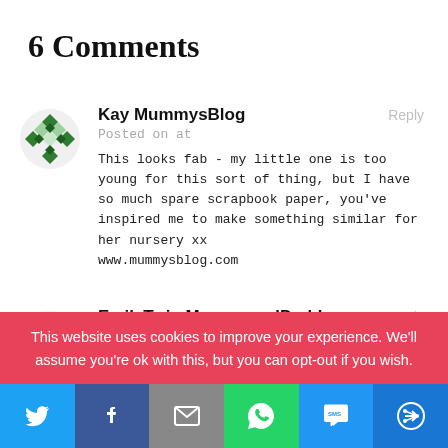6 Comments
Kay MummysBlog
Posted on at
This looks fab - my little one is too young for this sort of thing, but I have so much spare scrapbook paper, you've inspired me to make something similar for her nursery xx
www.mummysblog.com
EmilyTwin MummyandDaddy
Posted on at
This website uses cookies to improve your experience. We'll assume you're ok with this, but you can opt-out if you wish.